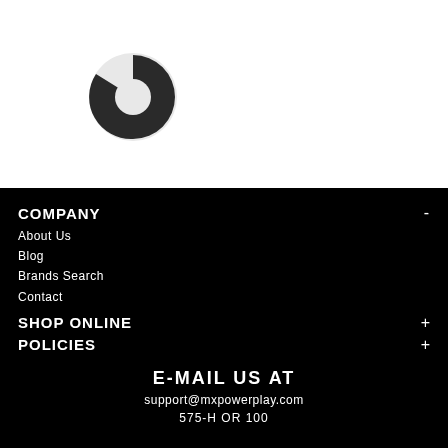[Figure (logo): Circular logo with dark slice/wedge shape on light gray background]
COMPANY -
About Us
Blog
Brands Search
Contact
SHOP ONLINE +
POLICIES +
E-MAIL US AT
support@mxpowerplay.com
575-H OR 100